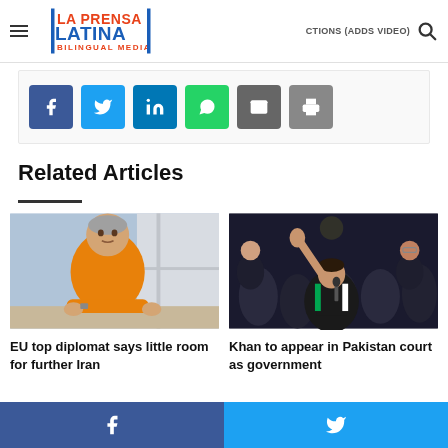La Prensa Latina Bilingual Media — ELECTIONS (ADDS VIDEO)
[Figure (infographic): Social share buttons: Facebook, Twitter, LinkedIn, WhatsApp, Email, Print]
Related Articles
[Figure (photo): EU top diplomat (older man in orange polo shirt) standing near window]
EU top diplomat says little room for further Iran
[Figure (photo): Khan speaking at microphone with hand raised, crowd behind him]
Khan to appear in Pakistan court as government
Facebook | Twitter share bar